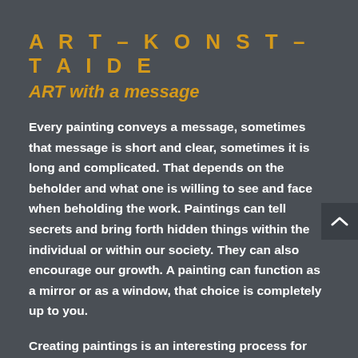ART – KONST – TAIDE
ART with a message
Every painting conveys a message, sometimes that message is short and clear, sometimes it is long and complicated. That depends on the beholder and what one is willing to see and face when beholding the work. Paintings can tell secrets and bring forth hidden things within the individual or within our society. They can also encourage our growth. A painting can function as a mirror or as a window, that choice is completely up to you.
Creating paintings is an interesting process for